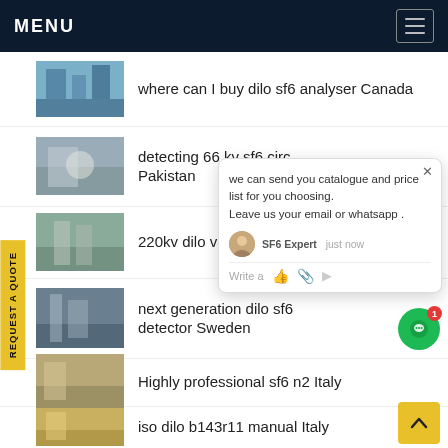MENU
where can I buy dilo sf6 analyser Canada
detecting 66 kv sf6 circuit breaker Pakistan
220kv dilo vacuum pump
next generation dilo sf6 detector Sweden
Highly professional sf6 n2 Italy
iso dilo b143r11 manual Italy